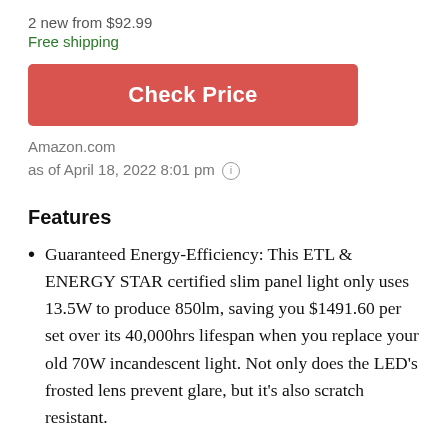2 new from $92.99
Free shipping
[Figure (other): Red 'Check Price' button]
Amazon.com
as of April 18, 2022 8:01 pm (i)
Features
Guaranteed Energy-Efficiency: This ETL & ENERGY STAR certified slim panel light only uses 13.5W to produce 850lm, saving you $1491.60 per set over its 40,000hrs lifespan when you replace your old 70W incandescent light. Not only does the LED's frosted lens prevent glare, but it's also scratch resistant.